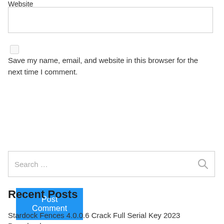Website
Save my name, email, and website in this browser for the next time I comment.
Post Comment
Search …
Recent Posts
Stardock Fences 4.0.0.6 Crack Full Serial Key 2023 Download